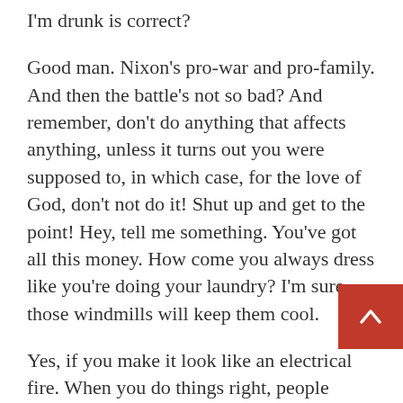I'm drunk is correct?
Good man. Nixon's pro-war and pro-family. And then the battle's not so bad? And remember, don't do anything that affects anything, unless it turns out you were supposed to, in which case, for the love of God, don't not do it! Shut up and get to the point! Hey, tell me something. You've got all this money. How come you always dress like you're doing your laundry? I'm sure those windmills will keep them cool.
Yes, if you make it look like an electrical fire. When you do things right, people won't be sure you've done anything at all. I love you, buddy! Please, Don-Bot… look into your hard drive, and open your mercy file! You guys aren't Santa! You're not even robots. How dare you lie in front of Jesus? Hey,